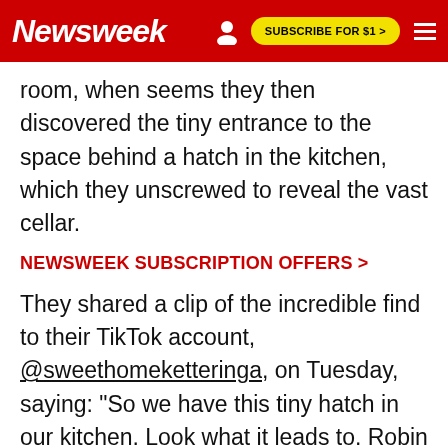Newsweek | SUBSCRIBE FOR $1 >
room, when seems they then discovered the tiny entrance to the space behind a hatch in the kitchen, which they unscrewed to reveal the vast cellar.
NEWSWEEK SUBSCRIPTION OFFERS >
They shared a clip of the incredible find to their TikTok account, @sweethomeketteringa, on Tuesday, saying: "So we have this tiny hatch in our kitchen. Look what it leads to. Robin decided to investigate further. I watched from a safe distance. Y'know, just in case the doorbell